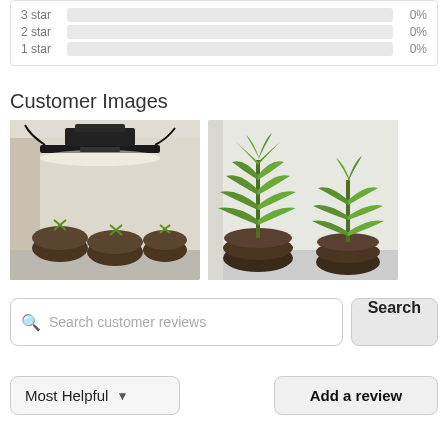[Figure (other): Rating bar rows showing 2 star at 0% and 1 star at 0% with empty gray progress bars]
Customer Images
[Figure (photo): Customer photo 1: grow light device suspended over soil pucks with green seedlings in a white-walled grow space]
[Figure (photo): Customer photo 2: green cannabis plants in soil pots inside a white-walled grow tent]
Search customer reviews
Search
Most Helpful
Add a review